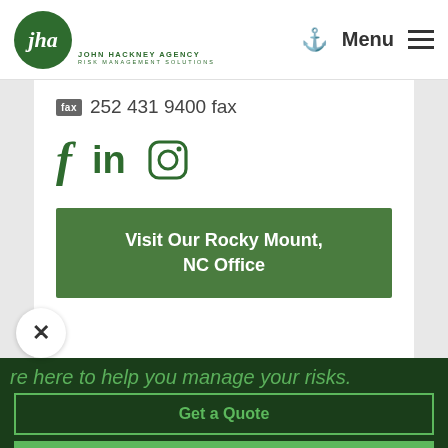[Figure (logo): John Hackney Agency Risk Management Solutions logo — dark green circle with stylized 'jha' initials]
Menu
252 431 9400 fax
[Figure (illustration): Social media icons: Facebook (f), LinkedIn (in), Instagram (camera icon)]
Visit Our Rocky Mount, NC Office
re here to help you manage your risks.
Get a Quote
Call 252-442-3186